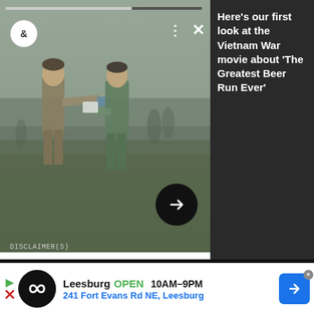[Figure (screenshot): Video player thumbnail showing two soldiers in a Vietnam War movie scene, one handing something to the other. Controls visible including dots menu, X close button, and arrow navigation button. Progress bar at top. Logo badge with ampersand symbol at top left.]
Here's our first look at the Vietnam War movie about 'The Greatest Beer Run Ever'
DISCLAIMER(S)
Articles may contain affiliate links which enable us to share in the revenue of any purchases made.
Registration on or use of this site constitutes acceptance of our Terms of Service.
© 2022 Recurrent. All rights reserved.
[Figure (infographic): Advertisement banner for Leesburg store. Black circle logo with infinity-like symbol. Text: Leesburg OPEN 10AM-9PM 241 Fort Evans Rd NE, Leesburg. Blue navigation arrow on right with close X button. Play/stop icons on far left.]